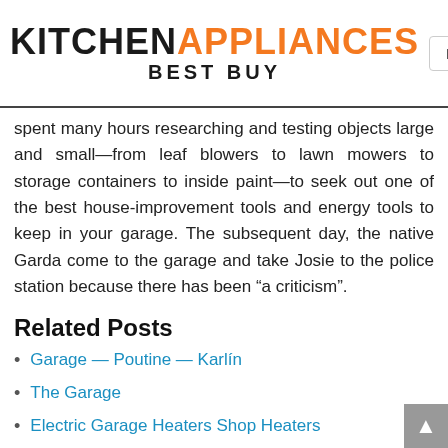KITCHEN APPLIANCES BEST BUY
spent many hours researching and testing objects large and small—from leaf blowers to lawn mowers to storage containers to inside paint—to seek out one of the best house-improvement tools and energy tools to keep in your garage. The subsequent day, the native Garda come to the garage and take Josie to the police station because there has been “a criticism”.
Related Posts
Garage — Poutine — Karlín
The Garage
Electric Garage Heaters Shop Heaters